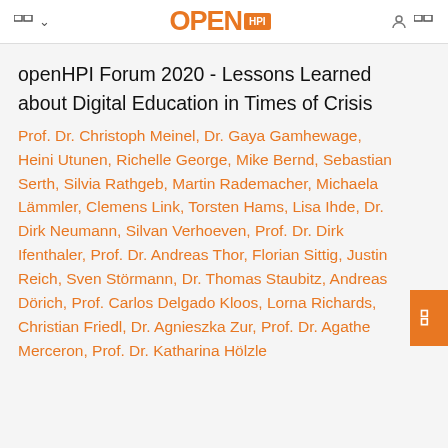OPEN HPI
openHPI Forum 2020 - Lessons Learned about Digital Education in Times of Crisis
Prof. Dr. Christoph Meinel, Dr. Gaya Gamhewage, Heini Utunen, Richelle George, Mike Bernd, Sebastian Serth, Silvia Rathgeb, Martin Rademacher, Michaela Lämmler, Clemens Link, Torsten Hams, Lisa Ihde, Dr. Dirk Neumann, Silvan Verhoeven, Prof. Dr. Dirk Ifenthaler, Prof. Dr. Andreas Thor, Florian Sittig, Justin Reich, Sven Störmann, Dr. Thomas Staubitz, Andreas Dörich, Prof. Carlos Delgado Kloos, Lorna Richards, Christian Friedl, Dr. Agnieszka Zur, Prof. Dr. Agathe Merceron, Prof. Dr. Katharina Hölzle